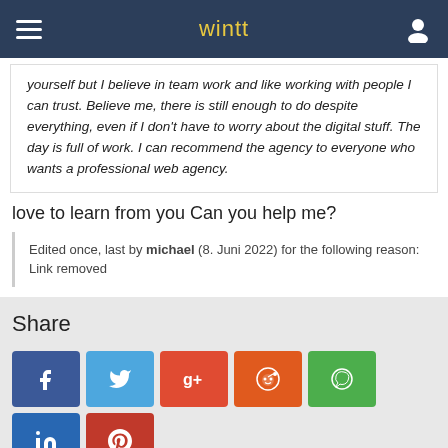wintt
yourself but I believe in team work and like working with people I can trust. Believe me, there is still enough to do despite everything, even if I don't have to worry about the digital stuff. The day is full of work. I can recommend the agency to everyone who wants a professional web agency.
love to learn from you Can you help me?
Edited once, last by michael (8. Juni 2022) for the following reason: Link removed
Share
[Figure (other): Social share buttons: Facebook, Twitter, Google+, Reddit, WhatsApp, LinkedIn, Pinterest]